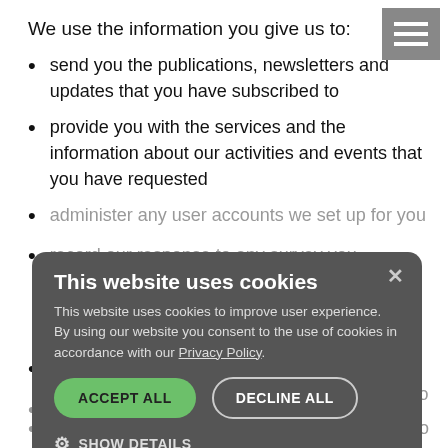We use the information you give us to:
send you the publications, newsletters and updates that you have subscribed to
provide you with the services and the information about our activities and events that you have requested
administer any user accounts we set up for you
record our response to any survey you participate in for research, evaluation and
analyse and improve the activities and content offered by our Primary Care Network website to provide you with the most user-friendly navigation experience.
otherwise communicate with you regarding our aims and activities
ensure we do not send unwanted information to those
This website uses cookies
This website uses cookies to improve user experience. By using our website you consent to the use of cookies in accordance with our Privacy Policy.
ACCEPT ALL   DECLINE ALL   SHOW DETAILS